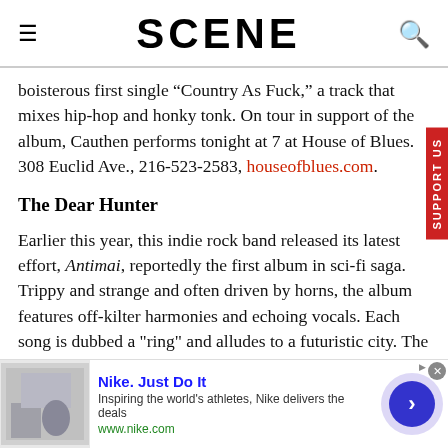SCENE
boisterous first single “Country As Fuck,” a track that mixes hip-hop and honky tonk. On tour in support of the album, Cauthen performs tonight at 7 at House of Blues. 308 Euclid Ave., 216-523-2583, houseofblues.com.
The Dear Hunter
Earlier this year, this indie rock band released its latest effort, Antimai, reportedly the first album in sci-fi saga. Trippy and strange and often driven by horns, the album features off-kilter harmonies and echoing vocals. Each song is dubbed a "ring" and alludes to a futuristic city. The group performs at 7:30 tonight at the Beachland Ballroom